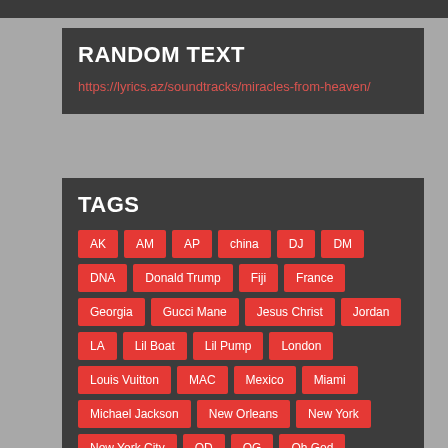RANDOM TEXT
https://lyrics.az/soundtracks/miracles-from-heaven/
TAGS
AK
AM
AP
china
DJ
DM
DNA
Donald Trump
Fiji
France
Georgia
Gucci Mane
Jesus Christ
Jordan
LA
Lil Boat
Lil Pump
London
Louis Vuitton
MAC
Mexico
Miami
Michael Jackson
New Orleans
New York
New York City
OD
OG
Oh God
Oh Lord
OK
Paris
PJ